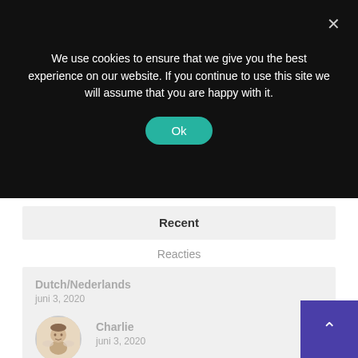We use cookies to ensure that we give you the best experience on our website. If you continue to use this site we will assume that you are happy with it.
Ok
Recent
Reacties
Dutch/Nederlands
juni 3, 2020
[Figure (illustration): Small avatar illustration of a cherub or child figure sitting]
Charlie
juni 3, 2020
[Figure (photo): Partial circular avatar photo of a person]
23-05-2020
mei 27, 2020